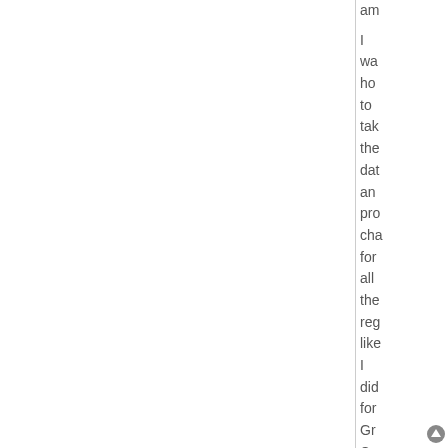am I was hoping to take the data and produce charts for all the regions like I did for Grand Central
Http cw...